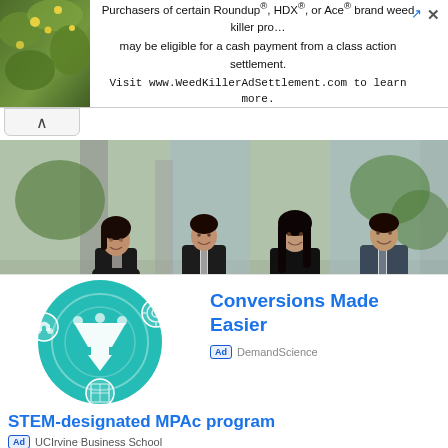[Figure (photo): Ad banner at top showing yellow flowers on green background alongside text about Roundup weed killer class action settlement]
Purchasers of certain Roundup®, HDX®, or Ace® brand weed killer products may be eligible for a cash payment from a class action settlement. Visit www.WeedKillerAdSettlement.com to learn more.
[Figure (photo): Four young professionals in business attire standing outdoors in a courtyard — three women and one man posing confidently]
STEM-designated MPAc program
Ad  UCIrvine Business School
[Figure (illustration): Teal circular icon with a funnel/filter symbol surrounded by other icons on a white background — DemandScience ad graphic]
Conversions Made Easier
Ad  DemandScience